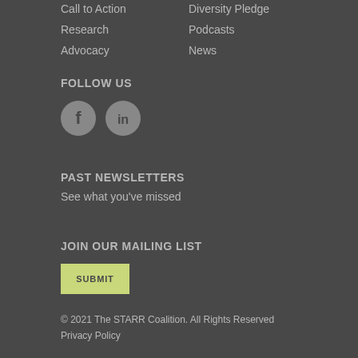Call to Action
Diversity Pledge
Research
Podcasts
Advocacy
News
FOLLOW US
[Figure (illustration): Facebook and LinkedIn social media icon buttons (grey circular icons with white F and IN logos)]
PAST NEWSLETTERS
See what you've missed
JOIN OUR MAILING LIST
SUBMIT
© 2021 The STARR Coalition. All Rights Reserved
Privacy Policy